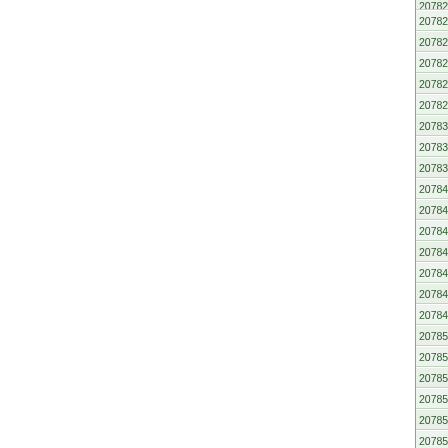| ZIP City |
| --- |
| 20782 Hyattsville (partial) |
| 20782 Lewisdale |
| 20782 Prince G... |
| 20782 Universit... |
| 20782 Universit... |
| 20782 West Hy... |
| 20783 Adelphi (...) |
| 20783 Hyattsvil... |
| 20783 Langley ... |
| 20784 Cheverly |
| 20784 Hyattsvil... |
| 20784 Landove... |
| 20784 Landove... |
| 20784 Lanham ... |
| 20784 New Ca... |
| 20784 New Ca... |
| 20785 Ardmore ... |
| 20785 Cheverly |
| 20785 Hyattsvil... |
| 20785 Landove... |
| 20785 North En... |
| 20785 Palmer ... |